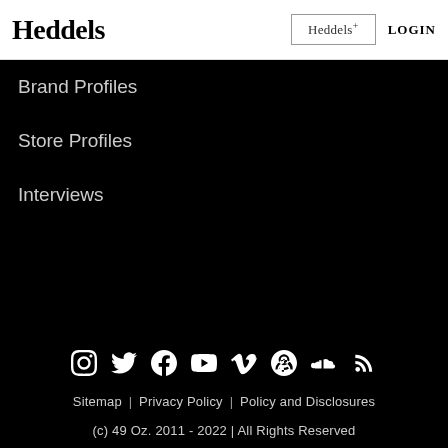Heddels | Heddels+ | LOGIN
Brand Profiles
Store Profiles
Interviews
[Figure (infographic): Social media icons row: Instagram, Twitter, Facebook, YouTube, Vimeo, Podcast, SoundCloud, RSS]
Sitemap | Privacy Policy | Policy and Disclosures
(c) 49 Oz. 2011 - 2022 | All Rights Reserved